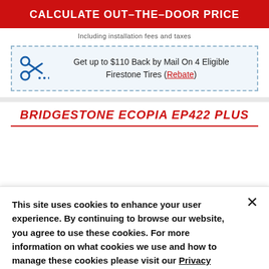CALCULATE OUT-THE-DOOR PRICE
Including installation fees and taxes
Get up to $110 Back by Mail On 4 Eligible Firestone Tires (Rebate)
BRIDGESTONE ECOPIA EP422 PLUS
This site uses cookies to enhance your user experience. By continuing to browse our website, you agree to use these cookies. For more information on what cookies we use and how to manage these cookies please visit our Privacy policy
OK